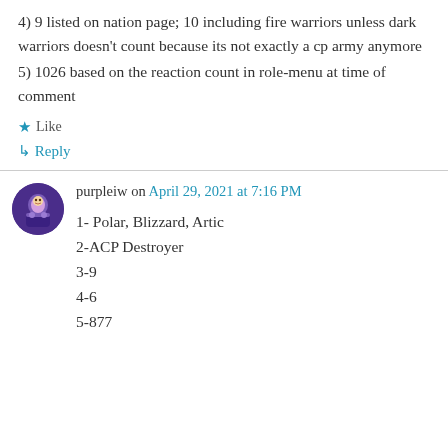4) 9 listed on nation page; 10 including fire warriors unless dark warriors doesn't count because its not exactly a cp army anymore
5) 1026 based on the reaction count in role-menu at time of comment
★ Like
↳ Reply
purpleiw on April 29, 2021 at 7:16 PM
1- Polar, Blizzard, Artic
2-ACP Destroyer
3-9
4-6
5-877